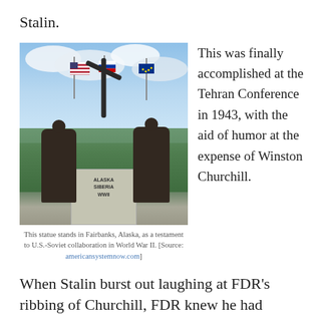Stalin.
[Figure (photo): Bronze statue monument in Fairbanks, Alaska showing two WWII pilots/aviators flanking a propeller and pedestal inscribed 'Alaska Siberia WWII', with American, Russian, and Alaskan flags behind them, set against a cloudy sky and green trees.]
This statue stands in Fairbanks, Alaska, as a testament to U.S.-Soviet collaboration in World War II. [Source: americansystemnow.com]
This was finally accomplished at the Tehran Conference in 1943, with the aid of humor at the expense of Winston Churchill.
When Stalin burst out laughing at FDR's ribbing of Churchill, FDR knew he had succeeded. FDR also went to bat against Churchill's constant attempts to sabotage the invasion of France, the so-called second front